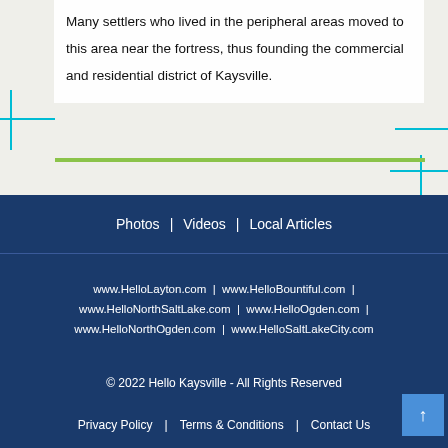Many settlers who lived in the peripheral areas moved to this area near the fortress, thus founding the commercial and residential district of Kaysville.
[Figure (map): Partial map background in beige/gray tones with cyan and green road lines visible]
Photos | Videos | Local Articles
www.HelloLayton.com | www.HelloBountiful.com | www.HelloNorthSaltLake.com | www.HelloOgden.com | www.HelloNorthOgden.com | www.HelloSaltLakeCity.com
© 2022 Hello Kaysville - All Rights Reserved
Privacy Policy | Terms & Conditions | Contact Us